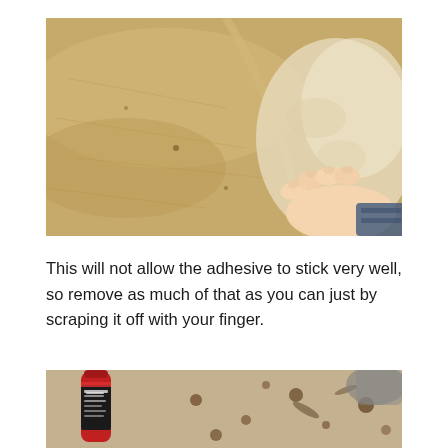[Figure (photo): Close-up photo of a beige/tan carpet edge being peeled back by a hand, showing the underside with fluffy/loose fibers and some dirt or debris. The hand with fingers visible is pulling up the carpet corner.]
This will not allow the adhesive to stick very well, so remove as much of that as you can just by scraping it off with your finger.
[Figure (photo): Photo showing a red and black spray can (labeled with DRY TIME) lying on a surface with rust or dirt spots/stains visible around it.]